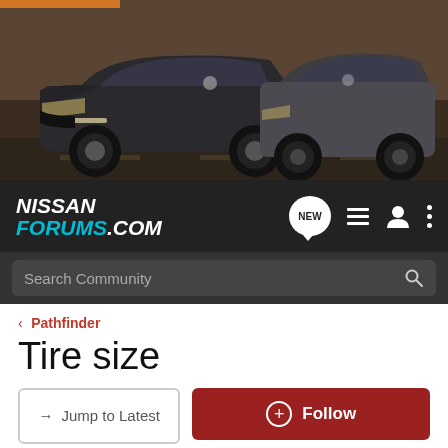[Figure (photo): Banner showing two Nissan vehicles on a road — a dark grey Nissan Sentra NISMO on the left and a grey Nissan Pathfinder SUV on the right, against a desert landscape background.]
NISSAN FORUMS.COM  NEW  [nav icons]  Search Community
< Pathfinder
Tire size
→ Jump to Latest
+ Follow
1 - 5 of 5 Posts
renjuav · Registered
Joined Jul 4, 2008 · 2 Posts